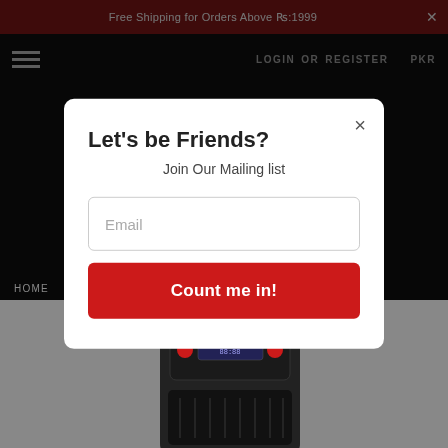Free Shipping for Orders Above Rs:1999
[Figure (screenshot): Navigation bar with hamburger menu icon on the left and LOGIN OR REGISTER and PKR on the right, on black background]
[Figure (infographic): Modal popup with title 'Let's be Friends?', subtitle 'Join Our Mailing list', an Email input field, and a red 'Count me in!' button]
HOME
[Figure (photo): Product photo of a black portable speaker/audio device on grey background]